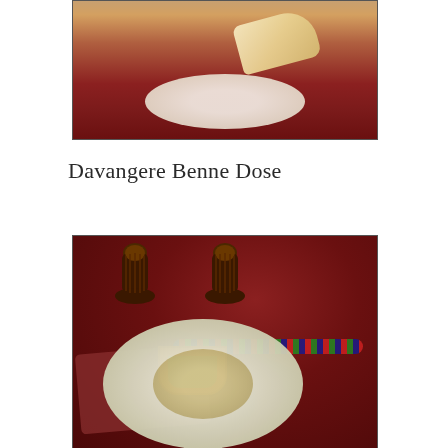[Figure (photo): Top portion of a food photo showing a flatbread (dosa) on a decorative plate against a dark red/maroon background]
Davangere Benne Dose
[Figure (photo): Food photography showing Davangere Benne Dose (butter dosa) on a dark red background with two brown ceramic pots in the background, an orange bowl of chutney in the middle, decorative beaded cloth, and a large white soft dosa in the foreground]